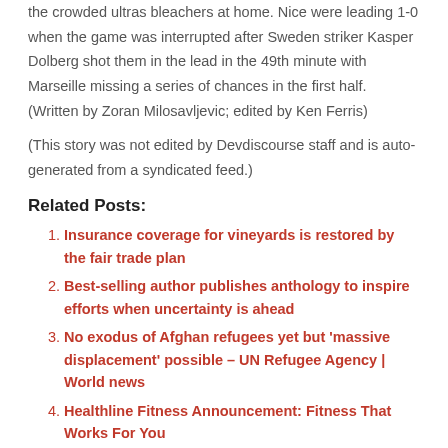the crowded ultras bleachers at home. Nice were leading 1-0 when the game was interrupted after Sweden striker Kasper Dolberg shot them in the lead in the 49th minute with Marseille missing a series of chances in the first half. (Written by Zoran Milosavljevic; edited by Ken Ferris)
(This story was not edited by Devdiscourse staff and is auto-generated from a syndicated feed.)
Related Posts:
Insurance coverage for vineyards is restored by the fair trade plan
Best-selling author publishes anthology to inspire efforts when uncertainty is ahead
No exodus of Afghan refugees yet but 'massive displacement' possible – UN Refugee Agency | World news
Healthline Fitness Announcement: Fitness That Works For You